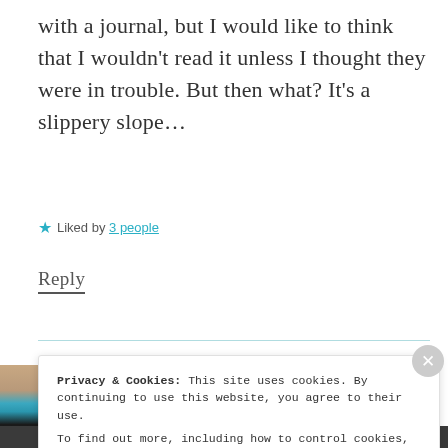with a journal, but I would like to think that I wouldn't read it unless I thought they were in trouble. But then what? It's a slippery slope…
★ Liked by 3 people
Reply
Privacy & Cookies: This site uses cookies. By continuing to use this website, you agree to their use. To find out more, including how to control cookies, see here: Cookie Policy
Close and accept